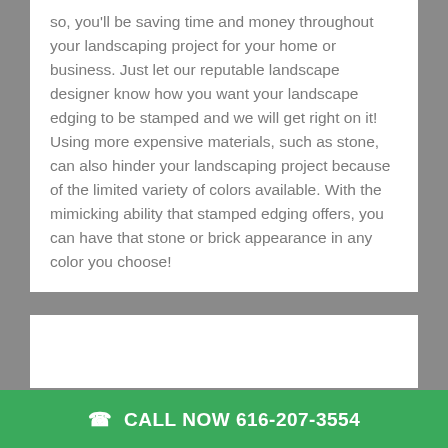so, you'll be saving time and money throughout your landscaping project for your home or business. Just let our reputable landscape designer know how you want your landscape edging to be stamped and we will get right on it! Using more expensive materials, such as stone, can also hinder your landscaping project because of the limited variety of colors available. With the mimicking ability that stamped edging offers, you can have that stone or brick appearance in any color you choose!
[Figure (other): White rectangular content card with no visible image content (blank/empty white area)]
CALL NOW 616-207-3554